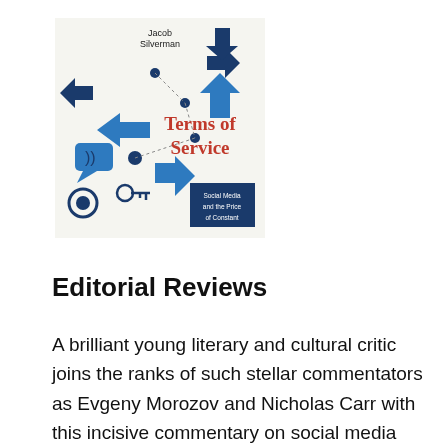[Figure (illustration): Book cover of 'Terms of Service: Social Media and the Price of Constant Connection' by Jacob Silverman, featuring blue and dark arrows, connectivity icons, and social media symbols on a white background with the title in orange/coral text.]
Editorial Reviews
A brilliant young literary and cultural critic joins the ranks of such stellar commentators as Evgeny Morozov and Nicholas Carr with this incisive commentary on social media culture and its impact on how we view ourselves, each other, and the world this commentators